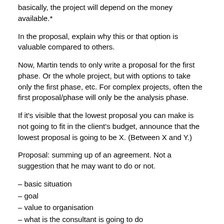basically, the project will depend on the money available.*
In the proposal, explain why this or that option is valuable compared to others.
Now, Martin tends to only write a proposal for the first phase. Or the whole project, but with options to take only the first phase, etc. For complex projects, often the first proposal/phase will only be the analysis phase.
If it's visible that the lowest proposal you can make is not going to fit in the client's budget, announce that the lowest proposal is going to be X. (Between X and Y.)
Proposal: summing up of an agreement. Not a suggestion that he may want to do or not.
– basic situation
– goal
– value to organisation
– what is the consultant is going to do
– responsabilities (mine=show up on time, be nice, do what is outlined above/yours=pay, give me info and access to people/our=inform each other about relevant info, mergers, restructuration, privacy, how conflicts will be managed)